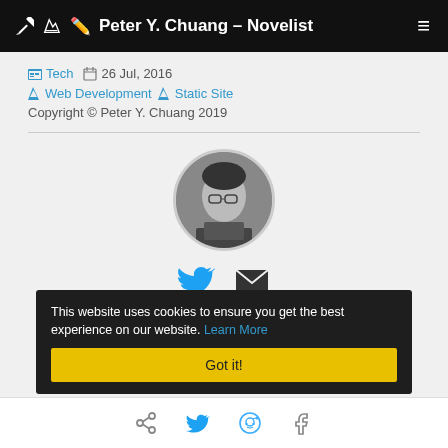Peter Y. Chuang – Novelist
Tech  26 Jul, 2016
Web Development  Static Site
Copyright © Peter Y. Chuang 2019
[Figure (photo): Circular profile photo of Peter Y. Chuang with Twitter and email social icons below]
This website uses cookies to ensure you get the best experience on our website. Learn More
Got it!
Share, Twitter, Reddit, Facebook icons